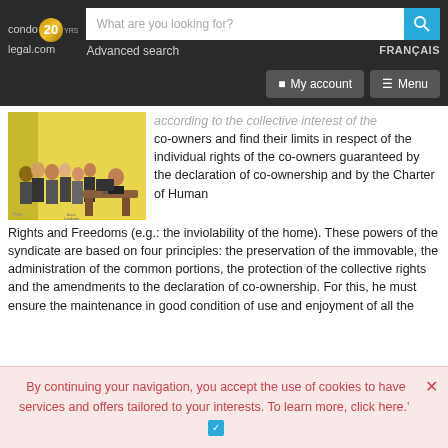[Figure (screenshot): Website header with condo20legal.com logo, search bar, Advanced search link, FRANÇAIS link, My account and Menu buttons]
[Figure (illustration): Cartoon illustration showing a group of people in a meeting room, yellow background]
according to the collective interest of the co-owners and find their limits in respect of the individual rights of the co-owners guaranteed by the declaration of co-ownership and by the Charter of Human Rights and Freedoms (e.g.: the inviolability of the home). These powers of the syndicate are based on four principles: the preservation of the immovable, the administration of the common portions, the protection of the collective rights and the amendments to the declaration of co-ownership. For this, he must ensure the maintenance in good condition of use and enjoyment of all the
By continuing your navigation, you accept the use of cookies to have services and offers tailored to your interests. To learn more, click here.'